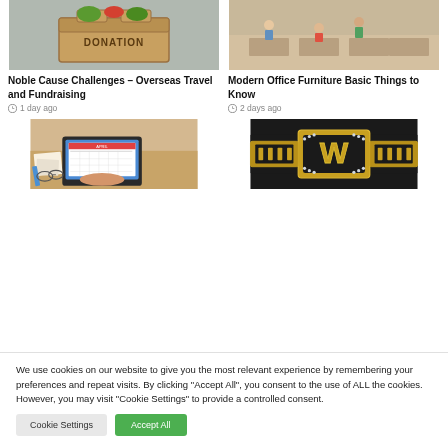[Figure (photo): Photo of a cardboard box labeled DONATION with vegetables/food items inside]
Noble Cause Challenges – Overseas Travel and Fundraising
1 day ago
[Figure (photo): Aerial view of a modern office space with people walking around]
Modern Office Furniture Basic Things to Know
2 days ago
[Figure (photo): Person typing on a laptop with a calendar app open, desk with papers and pencils]
[Figure (photo): WWE championship belt with large gold W logo]
We use cookies on our website to give you the most relevant experience by remembering your preferences and repeat visits. By clicking "Accept All", you consent to the use of ALL the cookies. However, you may visit "Cookie Settings" to provide a controlled consent.
Cookie Settings
Accept All